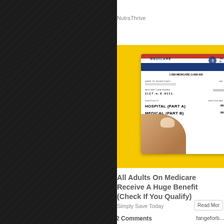NutraThrive
[Figure (photo): A Medicare card being held by a hand with painted nails, shown against a yellow background. The card shows: MEDICARE, 1-800-MEDICARE (1-800-633...), NAME OF BENEFICIARY (blurred), MEDICARE CLAIM NUMBER (blurred), IS ENTITLED TO: HOSPITAL (PART A) 06-01-, MEDICAL (PART B) 06-01-]
All Adults On Medicare Receive A Huge Benefit (Check If You Qualify)
Simply Save Today
Read Mor
2 Comments
fangeforb...